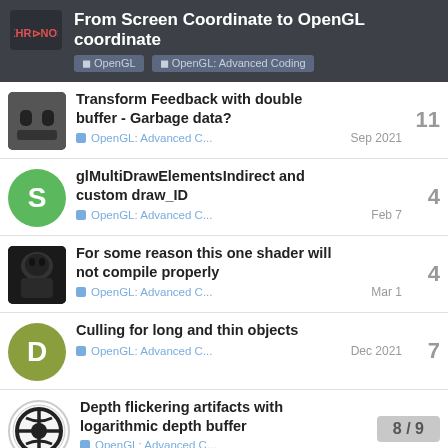From Screen Coordinate to OpenGL coordinate | OpenGL | OpenGL: Advanced Coding
Transform Feedback with double buffer - Garbage data? | OpenGL: Advanced C... | Sep 2021 | 11
glMultiDrawElementsIndirect and custom draw_ID | OpenGL: Advanced C... | Feb 7 | 4
For some reason this one shader will not compile properly | OpenGL: Advanced C... | Mar 1 | 4
Culling for long and thin objects | OpenGL: Advanced C... | Dec 2021 | 7
Depth flickering artifacts with logarithmic depth buffer | OpenGL: Advanced C... | 4
8 / 9